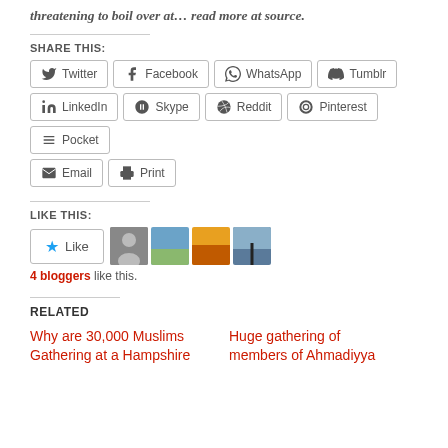threatening to boil over at… read more at source.
SHARE THIS:
Twitter
Facebook
WhatsApp
Tumblr
LinkedIn
Skype
Reddit
Pinterest
Pocket
Email
Print
LIKE THIS:
4 bloggers like this.
RELATED
Why are 30,000 Muslims Gathering at a Hampshire
Huge gathering of members of Ahmadiyya